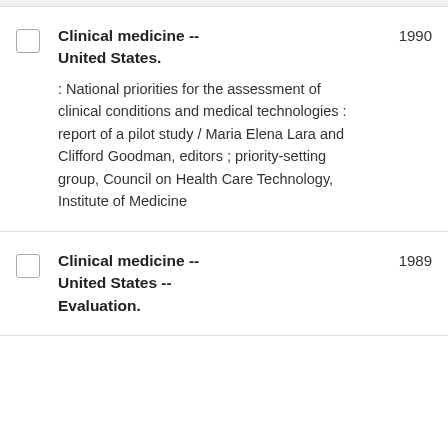Clinical medicine -- United States. : National priorities for the assessment of clinical conditions and medical technologies : report of a pilot study / Maria Elena Lara and Clifford Goodman, editors ; priority-setting group, Council on Health Care Technology, Institute of Medicine
Clinical medicine -- United States -- Evaluation.